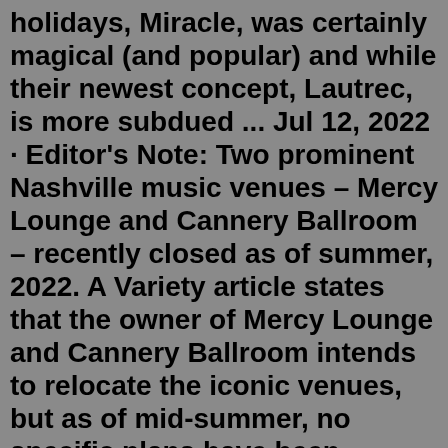holidays, Miracle, was certainly magical (and popular) and while their newest concept, Lautrec, is more subdued ... Jul 12, 2022 · Editor's Note: Two prominent Nashville music venues – Mercy Lounge and Cannery Ballroom – recently closed as of summer, 2022. A Variety article states that the owner of Mercy Lounge and Cannery Ballroom intends to relocate the iconic venues, but as of mid-summer, no specific plans have been announce. Jul 09, 2021 · Read more. Photograph: Margaret Littman. 6. Rosemary & Beauty Queen. Located in a century-old yellow house near Five Points in East Nashville, RBQ is homey, complete with built-in bookshelves and ... Bluebird Cafe - 4104 Hillsboro Pike Nashville TN 37215 - This is definitely not a typical bachelorette party type of event, but if scheduling works out, some diehard country fans may want to come to town Friday night for a Saturday bachelorette party and hit the Bluebird. It is not in town and will require a cab or car.Bar-goers run the gamut: boomers, country folks, city slickers, college kids. Come any